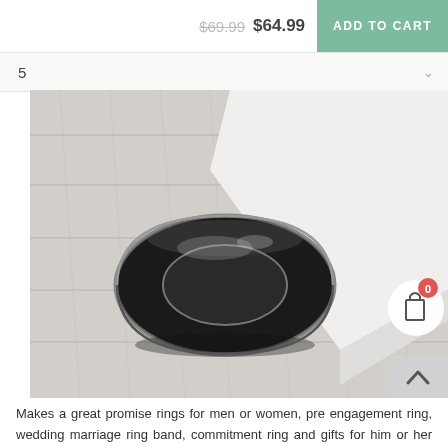$69.99  $64.99
ADD TO CART
5
[Figure (photo): A black ceramic/tungsten ring resting on a white wood surface, with a white book or box in the upper right. Shiny black band with beveled edges.]
Makes a great promise rings for men or women, pre engagement ring, wedding marriage ring band, commitment ring and gifts for him or her on anniversaries